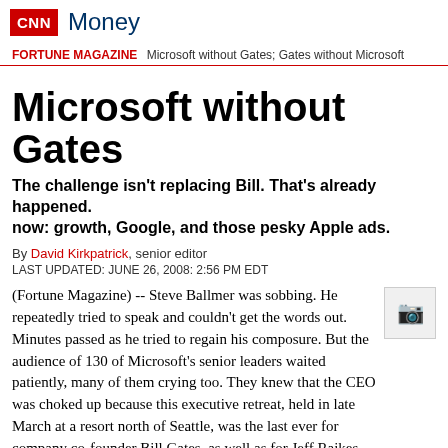CNN Money
FORTUNE MAGAZINE  Microsoft without Gates; Gates without Microsoft
Microsoft without Gates
The challenge isn't replacing Bill. That's already happened. The challenges now: growth, Google, and those pesky Apple ads.
By David Kirkpatrick, senior editor
LAST UPDATED: JUNE 26, 2008: 2:56 PM EDT
(Fortune Magazine) -- Steve Ballmer was sobbing. He repeatedly tried to speak and couldn't get the words out. Minutes passed as he tried to regain his composure. But the audience of 130 of Microsoft's senior leaders waited patiently, many of them crying too. They knew that the CEO was choked up because this executive retreat, held in late March at a resort north of Seattle, was the last ever for company co-founder Bill Gates, as well as for Jeff Raikes, one of the company's longest-tenured executives...